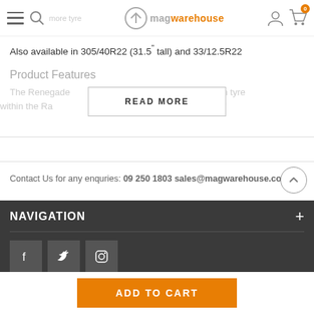magwarehouse - more tyres available online
Also available in 305/40R22 (31.5" tall) and 33/12.5R22
Product Features
The Renegade ... terrain tyre within the Ra... the pinnacle of
READ MORE
Contact Us for any enquries: 09 250 1803 sales@magwarehouse.com
NAVIGATION
[Figure (other): Social media icons: Facebook, Twitter, Instagram]
ADD TO CART